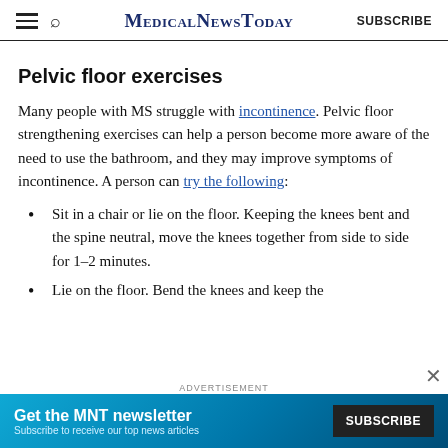MedicalNewsToday SUBSCRIBE
Pelvic floor exercises
Many people with MS struggle with incontinence. Pelvic floor strengthening exercises can help a person become more aware of the need to use the bathroom, and they may improve symptoms of incontinence. A person can try the following:
Sit in a chair or lie on the floor. Keeping the knees bent and the spine neutral, move the knees together from side to side for 1–2 minutes.
Lie on the floor. Bend the knees and keep the
[Figure (screenshot): Advertisement banner: Get the MNT newsletter. Subscribe to receive our top news articles. SUBSCRIBE button.]